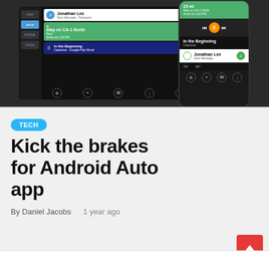[Figure (screenshot): Android Auto interface showing car head unit display with navigation (Stay on CA-1 North), music (In the Beginning), and message notification (Jonathan Lee), alongside a phone showing the same Android Auto interface]
TECH
Kick the brakes for Android Auto app
By Daniel Jacobs   1 year ago